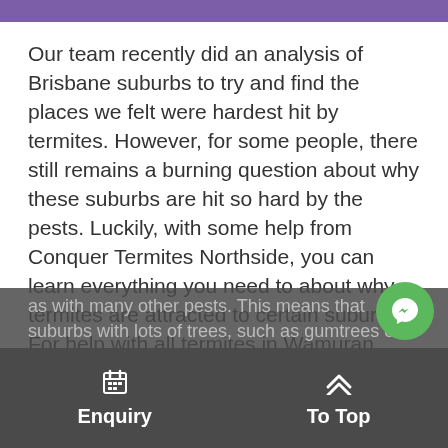Our team recently did an analysis of Brisbane suburbs to try and find the places we felt were hardest hit by termites. However, for some people, there still remains a burning question about why these suburbs are hit so hard by the pests. Luckily, with some help from Conquer Termites Northside, you can learn everything you need to about why termites are attracted to certain suburbs. For help with all termites in Wamuran Basin, call us on (07) 3356 8801.
You won't find termites concentrated in any one place in Australia, and will instead find them spread out haphazardly around the country. Food, water, and shelter are of the highest priorities to most termites, as with many other pests. This means that suburbs with lots of trees, such as gumtrees or tallowood quinquenervia (commonly known as broad-leaved paperbark trees), or with regions with high moisture retention...
Enquiry   To Top